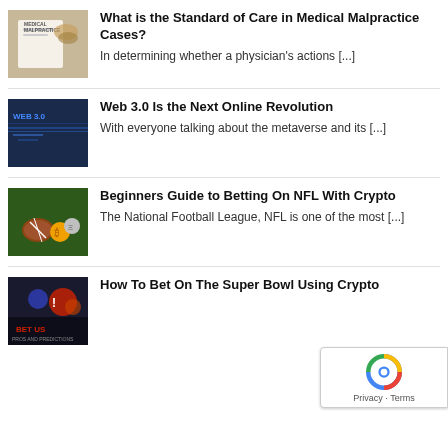[Figure (photo): Medical malpractice document with stethoscope and glasses on a desk]
What is the Standard of Care in Medical Malpractice Cases?
In determining whether a physician's actions [...]
[Figure (photo): Web 3.0 concept image with digital graphics]
Web 3.0 Is the Next Online Revolution
With everyone talking about the metaverse and its [...]
[Figure (photo): NFL football with crypto coins on a stadium field]
Beginners Guide to Betting On NFL With Crypto
The National Football League, NFL is one of the most [...]
[Figure (photo): BetUS sports betting promotional image - Pros and Predictions]
How To Bet On The Super Bowl Using Crypto